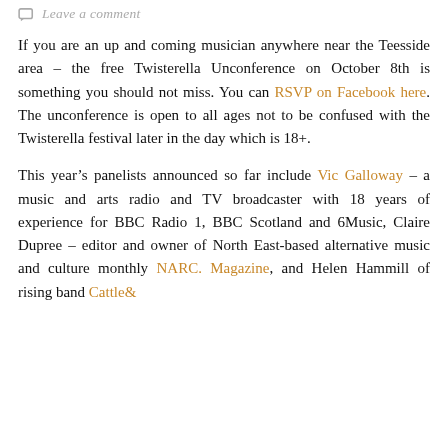Leave a comment
If you are an up and coming musician anywhere near the Teesside area – the free Twisterella Unconference on October 8th is something you should not miss. You can RSVP on Facebook here. The unconference is open to all ages not to be confused with the Twisterella festival later in the day which is 18+.
This year's panelists announced so far include Vic Galloway – a music and arts radio and TV broadcaster with 18 years of experience for BBC Radio 1, BBC Scotland and 6Music, Claire Dupree – editor and owner of North East-based alternative music and culture monthly NARC. Magazine, and Helen Hammill of rising band Cattle &